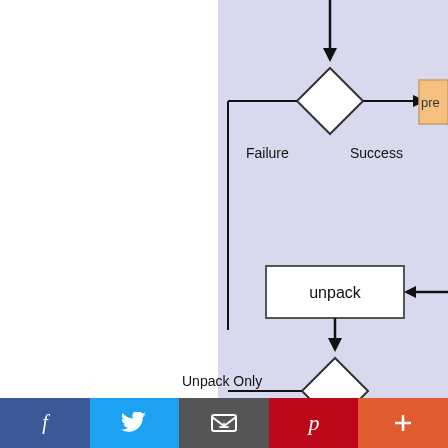[Figure (flowchart): A flowchart showing a software package installation process. A diamond decision node at top has arrows labeled 'Failure' (left) and 'Success' (right, leading to a partially visible orange 'pre...' box). Below is a 'unpack' process box with an arrow coming from the right. Below that is another diamond labeled 'Unpack Only' (left branch) and 'Full Install' (downward arrow). The downward path leads to a light blue box labeled 'postrm upgrade <new-version' and then to a partially visible box labeled 'preinst...' at the bottom. All within a light periwinkle/blue-gray background panel.]
[Figure (infographic): Social sharing bar at the bottom with five buttons: Facebook (blue), Twitter (light blue), Email (dark gray), Pinterest (red), and More/Plus (orange-red).]